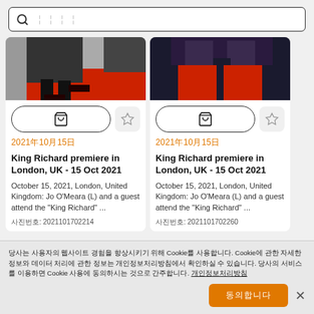🔍 검색어 입력 (search bar placeholder)
[Figure (photo): Cropped photo of legs on red carpet, black shoes visible]
[Figure (photo): Cropped photo of person in red pants and dark top]
2021년10월15일
King Richard premiere in London, UK - 15 Oct 2021
October 15, 2021, London, United Kingdom: Jo O'Meara (L) and a guest attend the "King Richard" ...
사진번호: 2021101702214
2021년10월15일
King Richard premiere in London, UK - 15 Oct 2021
October 15, 2021, London, United Kingdom: Jo O'Meara (L) and a guest attend the "King Richard" ...
사진번호: 2021101702260
당사는 사용자의 웹사이트 경험을 향상시키기 위해 Cookie를 사용합니다. Cookie에 관한 자세한 정보와 데이터 처리에 관한 정보는 개인정보처리방침에서 확인하실 수 있습니다. 당사의 서비스를 이용하면Cookie 사용에 동의하시는 것으로 간주합니다. 개인정보처리방침